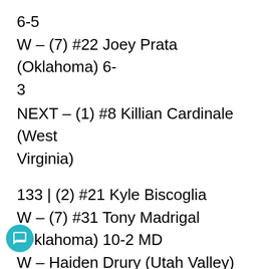6-5
W – (7) #22 Joey Prata (Oklahoma) 6-3
NEXT – (1) #8 Killian Cardinale (West Virginia)
133 | (2) #21 Kyle Biscoglia
W – (7) #31 Tony Madrigal (Oklahoma) 10-2 MD
W – Haiden Drury (Utah Valley) 7-5 SV
NEXT – (1) #2 Daton Fix (Oklahoma State)